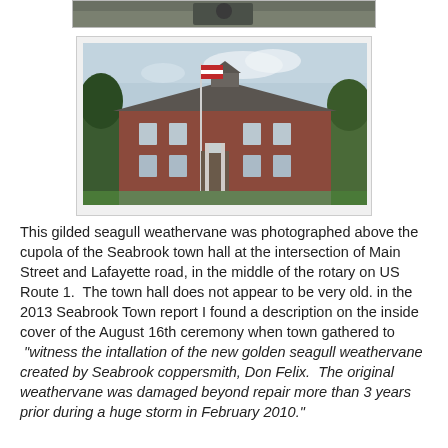[Figure (photo): Partial view of a bird or weathervane at top of page, cropped]
[Figure (photo): Photograph of the Seabrook town hall, a two-story brick building with a cupola and flagpole, surrounded by trees, at the intersection of Main Street and Lafayette Road on US Route 1]
This gilded seagull weathervane was photographed above the cupola of the Seabrook town hall at the intersection of Main Street and Lafayette road, in the middle of the rotary on US Route 1.  The town hall does not appear to be very old.  in the 2013 Seabrook Town report I found a description on the inside cover of the August 16th ceremony when town gathered to  "witness the intallation of the new golden seagull weathervane created by Seabrook coppersmith, Don Felix.  The original weathervane was damaged beyond repair more than 3 years prior during a huge storm in February 2010."